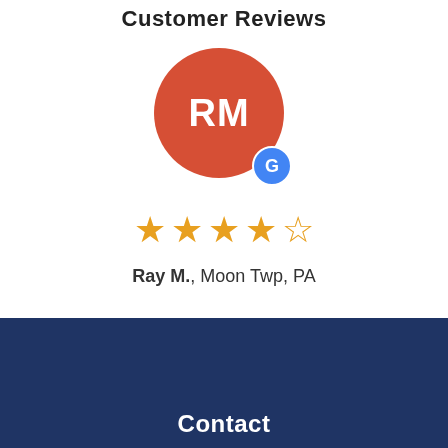Customer Reviews
[Figure (illustration): Red circle avatar with white initials RM and a Google badge (blue circle with white G) in the bottom right]
[Figure (other): 4 out of 5 stars rating shown as filled orange stars with one empty star outline]
Ray M., Moon Twp, PA
See All Reviews
Contact